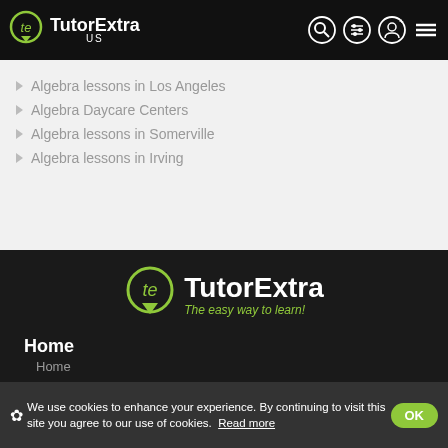[Figure (logo): TutorExtra US logo in white on black nav bar]
Algebra lessons in Los Angeles
Algebra Daycare Centers
Algebra lessons in Somerville
Algebra lessons in Irving
[Figure (logo): TutorExtra large logo with tagline 'The easy way to learn!' on dark background]
Home
Home
✿ We use cookies to enhance your experience. By continuing to visit this site you agree to our use of cookies.  Read more  OK